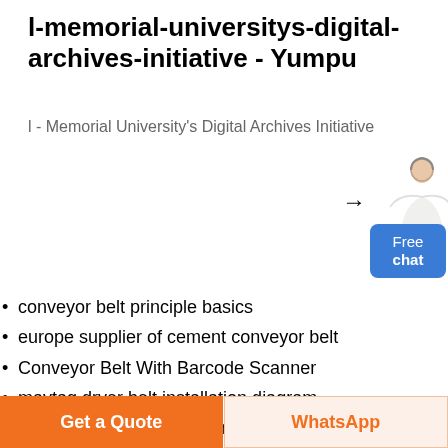l-memorial-universitys-digital-archives-initiative - Yumpu
l - Memorial University's Digital Archives Initiative
conveyor belt principle basics
europe supplier of cement conveyor belt
Conveyor Belt With Barcode Scanner
maytag dryer belt installation diagram
belt conveyor working animation
conveyor belt abbreviation